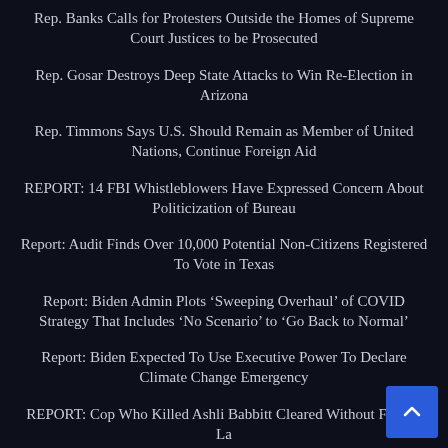Rep. Banks Calls for Protesters Outside the Homes of Supreme Court Justices to be Prosecuted
Rep. Gosar Destroys Deep State Attacks to Win Re-Election in Arizona
Rep. Timmons Says U.S. Should Remain as Member of United Nations, Continue Foreign Aid
REPORT: 14 FBI Whistleblowers Have Expressed Concern About Politicization of Bureau
Report: Audit Finds Over 10,000 Potential Non-Citizens Registered To Vote in Texas
Report: Biden Admin Plots ‘Sweeping Overhaul’ of COVID Strategy That Includes ‘No Scenario’ to ‘Go Back to Normal’
Report: Biden Expected To Use Executive Power To Declare Climate Change Emergency
REPORT: Cop Who Killed Ashli Babbitt Cleared Without Formal Law Enforcement Interview